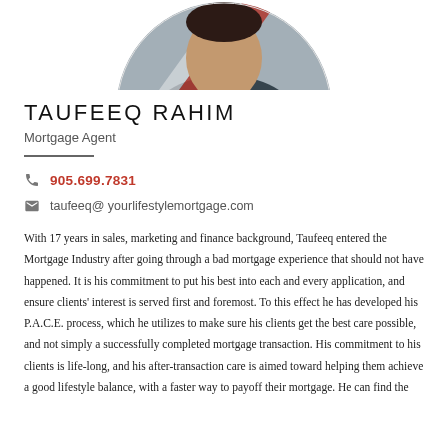[Figure (photo): Circular profile photo of Taufeeq Rahim, partially cropped at top of page, showing a person with a blue and red background (appears to be a flag or patriotic motif)]
TAUFEEQ RAHIM
Mortgage Agent
905.699.7831
taufeeq@ yourlifestylemortgage.com
With 17 years in sales, marketing and finance background, Taufeeq entered the Mortgage Industry after going through a bad mortgage experience that should not have happened. It is his commitment to put his best into each and every application, and ensure clients' interest is served first and foremost. To this effect he has developed his P.A.C.E. process, which he utilizes to make sure his clients get the best care possible, and not simply a successfully completed mortgage transaction. His commitment to his clients is life-long, and his after-transaction care is aimed toward helping them achieve a good lifestyle balance, with a faster way to payoff their mortgage. He can find the